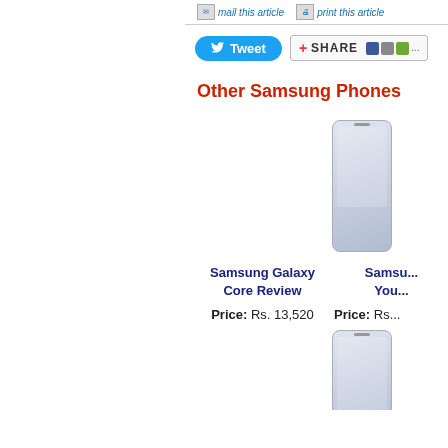[Figure (screenshot): Top bar with mail this article and print this article links with icons, partially visible]
[Figure (screenshot): Social sharing bar with Tweet button and SHARE button with social icons]
Other Samsung Phones
[Figure (photo): Partially visible Samsung phone product image on right side]
Samsung Galaxy Core Review
Price: Rs. 13,520
Samsu... You... (partially visible second product name)
Price: Rs...
[Figure (photo): Partially visible Samsung phone product image on right side bottom]